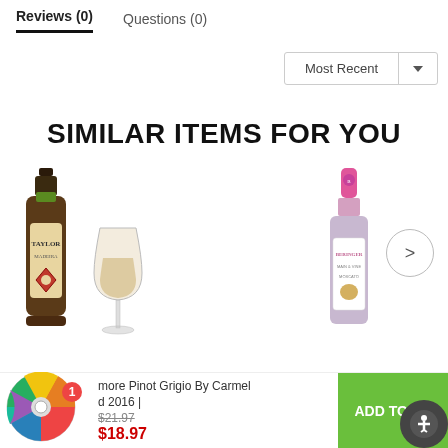Reviews (0)
Questions (0)
Most Recent
SIMILAR ITEMS FOR YOU
[Figure (photo): Taylor Madeira wine bottle alongside a wine glass, and a Beringer wine bottle partially visible on the right side with a navigation arrow]
more Pinot Grigio By Carmel
d 2016 |
$21.97
$18.97
ADD TO CA